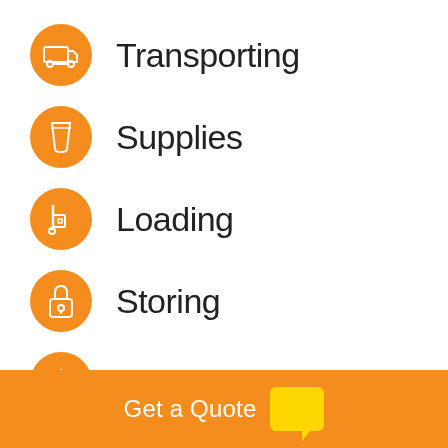Transporting
Supplies
Loading
Storing
Packing
[Figure (infographic): Orange footer bar with 'Get a Quote' text and yellow speech bubble icon]
Get a Quote